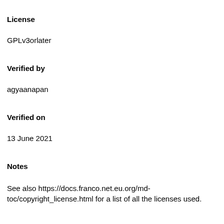License
GPLv3orlater
Verified by
agyaanapan
Verified on
13 June 2021
Notes
See also https://docs.franco.net.eu.org/md-toc/copyright_license.html for a list of all the licenses used.